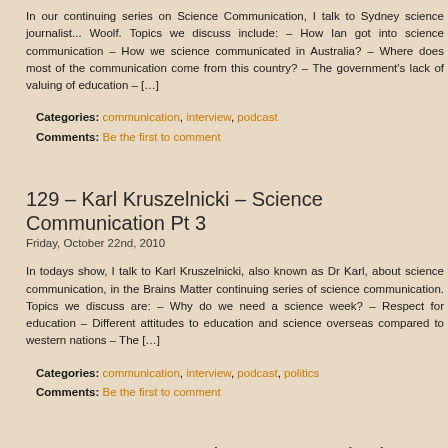In our continuing series on Science Communication, I talk to Sydney science journalist... Woolf. Topics we discuss include: – How Ian got into science communication – How we science communicated in Australia? – Where does most of the communication come from this country? – The government's lack of valuing of education – […]
Categories: communication, interview, podcast
Comments: Be the first to comment
129 – Karl Kruszelnicki – Science Communication Pt 3
Friday, October 22nd, 2010
In todays show, I talk to Karl Kruszelnicki, also known as Dr Karl, about science communication, in the Brains Matter continuing series of science communication. Topics we discuss are: – Why do we need a science week? – Respect for education – Different attitudes to education and science overseas compared to western nations – The […]
Categories: communication, interview, podcast, politics
Comments: Be the first to comment
128 – Bec Crew – Science Communication Pt 2
Monday, October 18th, 2010